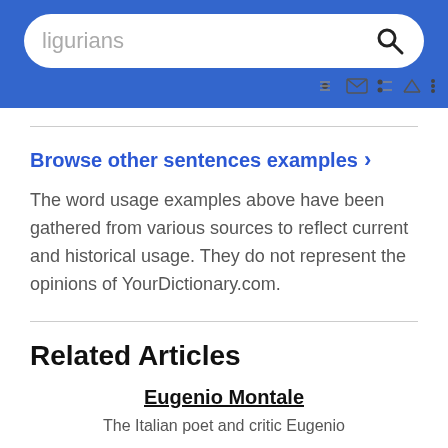ligurians [search bar with search icon]
Browse other sentences examples >
The word usage examples above have been gathered from various sources to reflect current and historical usage. They do not represent the opinions of YourDictionary.com.
Related Articles
Eugenio Montale
The Italian poet and critic Eugenio